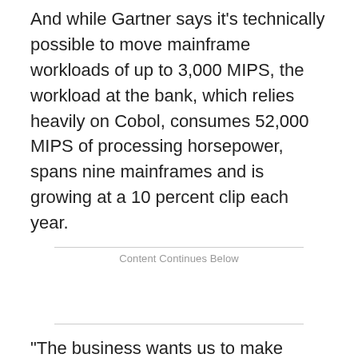And while Gartner says it's technically possible to move mainframe workloads of up to 3,000 MIPS, the workload at the bank, which relies heavily on Cobol, consumes 52,000 MIPS of processing horsepower, spans nine mainframes and is growing at a 10 percent clip each year.
Content Continues Below
"The business wants us to make investments in programming that buys them new revenue. Rewriting an application doesn't buy them any value-add," Brown says.
Instead, the strategy is to "rightsize" some non-